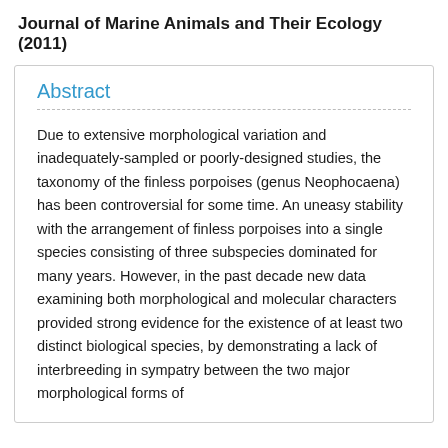Journal of Marine Animals and Their Ecology (2011)
Abstract
Due to extensive morphological variation and inadequately-sampled or poorly-designed studies, the taxonomy of the finless porpoises (genus Neophocaena) has been controversial for some time. An uneasy stability with the arrangement of finless porpoises into a single species consisting of three subspecies dominated for many years. However, in the past decade new data examining both morphological and molecular characters provided strong evidence for the existence of at least two distinct biological species, by demonstrating a lack of interbreeding in sympatry between the two major morphological forms of